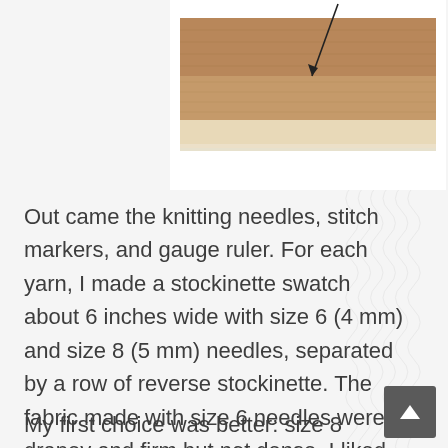[Figure (photo): A knitted swatch in brown/tan and cream colors, showing stockinette fabric, with a black arrow pointing to a section of the knitting. The swatch is on a white background.]
Out came the knitting needles, stitch markers, and gauge ruler. For each yarn, I made a stockinette swatch about 6 inches wide with size 6 (4 mm) and size 8 (5 mm) needles, separated by a row of reverse stockinette. The fabric made with size 6 needles were drapey and firm but not dense. I liked that fabric immediately but also tried out size 8 needles just to be sure.
My first choice was better: size 8